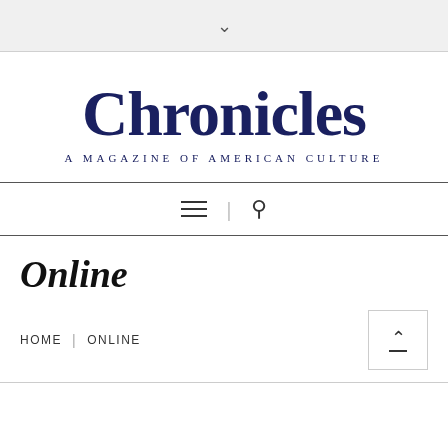Chronicles — A Magazine of American Culture
Chronicles
A Magazine of American Culture
[Figure (other): Navigation bar with hamburger menu icon and search icon]
Online
HOME | ONLINE